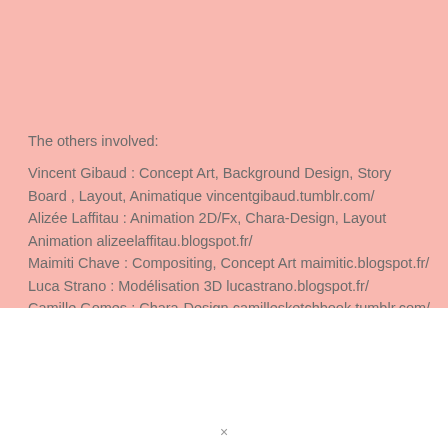The others involved:
Vincent Gibaud : Concept Art, Background Design, Story Board , Layout, Animatique vincentgibaud.tumblr.com/
Alizée Laffitau : Animation 2D/Fx, Chara-Design, Layout Animation alizeelaffitau.blogspot.fr/
Maimiti Chave : Compositing, Concept Art maimitic.blogspot.fr/
Luca Strano : Modélisation 3D lucastrano.blogspot.fr/
Camille Gomes : Chara-Design camillesketchbook.tumblr.com/
Alexandre Mongo : Animation 2D/3D
×